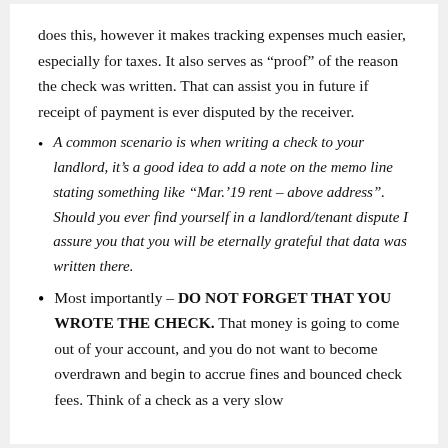does this, however it makes tracking expenses much easier, especially for taxes. It also serves as “proof” of the reason the check was written. That can assist you in future if receipt of payment is ever disputed by the receiver.
A common scenario is when writing a check to your landlord, it’s a good idea to add a note on the memo line stating something like “Mar.’19 rent – above address”. Should you ever find yourself in a landlord/tenant dispute I assure you that you will be eternally grateful that data was written there.
Most importantly – DO NOT FORGET THAT YOU WROTE THE CHECK. That money is going to come out of your account, and you do not want to become overdrawn and begin to accrue fines and bounced check fees. Think of a check as a very slow